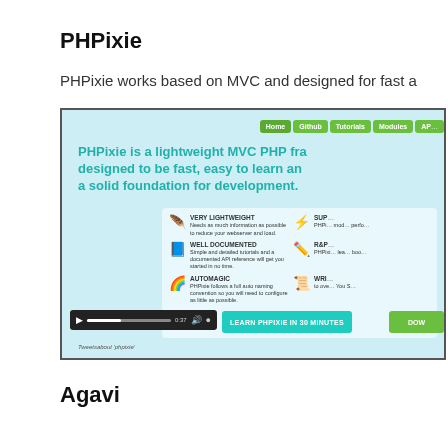PHPixie
PHPixie works based on MVC and designed for fast a
[Figure (screenshot): Screenshot of PHPixie website homepage showing navigation bar with Home, Github, Tutorials, Modules, and other links; large headline 'PHPixie is a lightweight MVC PHP framework designed to be fast, easy to learn and a solid foundation for development.'; feature icons for VERY LIGHTWEIGHT, WELL DOCUMENTED, AUTOMAGIC, and partially visible features; video player bar; LEARN PHPIXIE IN 30 MINUTES button; partially visible DOW button; Tweetsabout 'phpixie' text at bottom.]
Agavi